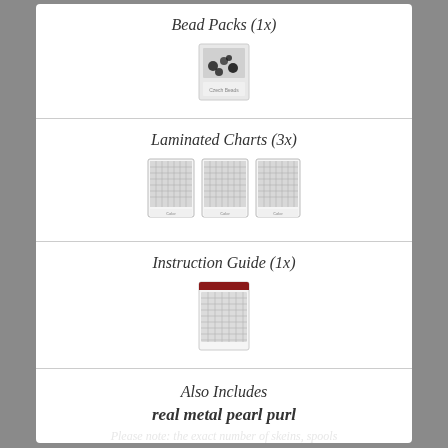Bead Packs (1x)
[Figure (photo): A small packet of beads]
Laminated Charts (3x)
[Figure (photo): Three laminated cross-stitch charts side by side]
Instruction Guide (1x)
[Figure (photo): A small instruction guide booklet with red binding]
Also Includes
real metal pearl purl
Please note: the exact number of skeins, spools